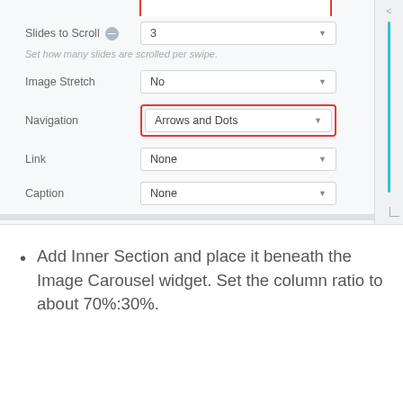[Figure (screenshot): UI settings panel showing form fields: Slides to Scroll (value: 3), Image Stretch (No), Navigation (Arrows and Dots, highlighted with red border), Link (None), Caption (None). Right side has a blue vertical line and collapse arrow. A scrollbar is at the bottom of the panel.]
Set how many slides are scrolled per swipe.
Add Inner Section and place it beneath the Image Carousel widget. Set the column ratio to about 70%:30%.